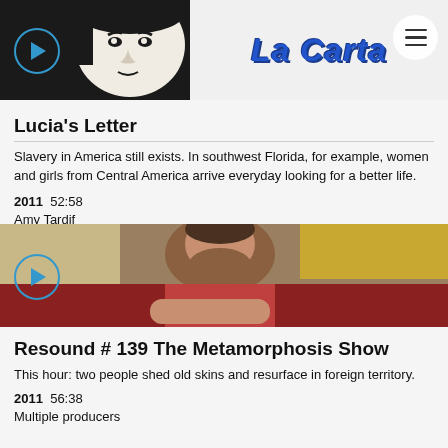[Figure (screenshot): Header image showing a black and white illustration of a woman's face on the left and the 'La Carta' logo text in blue italic script on the right, with a play button and hamburger menu icon.]
Lucia's Letter
Slavery in America still exists. In southwest Florida, for example, women and girls from Central America arrive everyday looking for a better life.
2011  52:58
Amy Tardif
[Figure (photo): Photo of a bearded man sitting at a diner booth, blurred background with warm yellow and red tones.]
Resound # 139 The Metamorphosis Show
This hour: two people shed old skins and resurface in foreign territory.
2011  56:38
Multiple producers